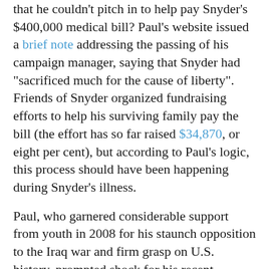that he couldn't pitch in to help pay Snyder's $400,000 medical bill? Paul's website issued a brief note addressing the passing of his campaign manager, saying that Snyder had "sacrificed much for the cause of liberty". Friends of Snyder organized fundraising efforts to help his surviving family pay the bill (the effort has so far raised $34,870, or eight per cent), but according to Paul's logic, this process should have been happening during Snyder's illness.
Paul, who garnered considerable support from youth in 2008 for his staunch opposition to the Iraq war and firm grasp on U.S. history, prompted shock for his recent comments. The New York Daily News ran a story on Paul suggesting that he and Texas governor Rick Perry were "celebrating the culture of death" at the GOP debates.
Campaign managers, who often go under the radar in politics, will get the spotlight in the new George Clooney movie, The Ides of March. At the heart of ourerview...